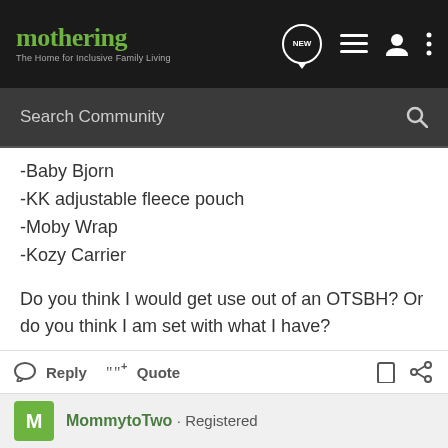mothering — The Home for Inclusive Family Living
Search Community
-Baby Bjorn
-KK adjustable fleece pouch
-Moby Wrap
-Kozy Carrier
Do you think I would get use out of an OTSBH? Or do you think I am set with what I have?
Thanks.
Reply   Quote   MommytoTwo · Registered